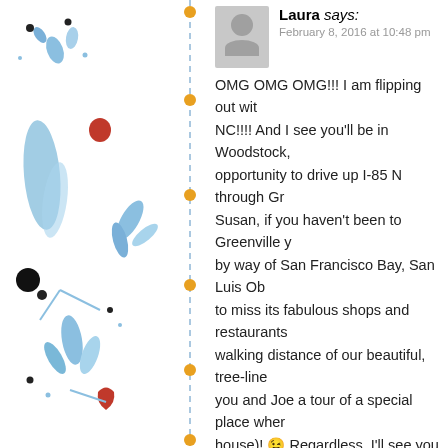[Figure (illustration): Decorative blue floral/botanical illustration with red berries and a vertical dashed line with orange dots on the left side of the page]
Laura says:
February 8, 2016 at 10:48 pm

OMG OMG OMG!!! I am flipping out with NC!!!! And I see you'll be in Woodstock, opportunity to drive up I-85 N through Gre Susan, if you haven't been to Greenville y by way of San Francisco Bay, San Luis Ob to miss its fabulous shops and restaurants a walking distance of our beautiful, tree-line you and Joe a tour of a special place where house)! 😉 Regardless, I'll see you in Ash my mouth in horror and awe at the end of
sbranch says:
February 9, 2016 at 5:01 am

I wrote down Greenville in case w through there! Albert Einstein slep